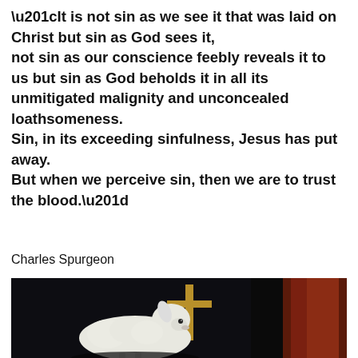“It is not sin as we see it that was laid on Christ but sin as God sees it, not sin as our conscience feebly reveals it to us but sin as God beholds it in all its unmitigated malignity and unconcealed loathsomeness. Sin, in its exceeding sinfulness, Jesus has put away. But when we perceive sin, then we are to trust the blood.”
Charles Spurgeon
[Figure (photo): A painting depicting a white lamb in the foreground with a golden cross behind it, set against a dark background. On the right edge, a figure in red/brown robes is partially visible.]